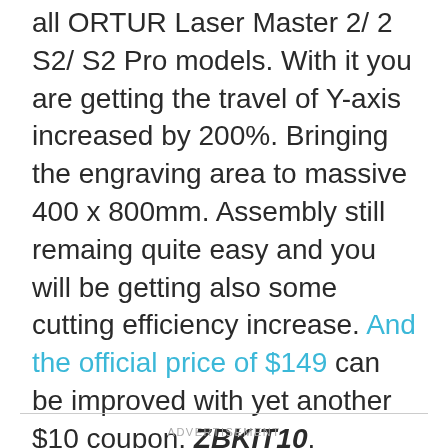all ORTUR Laser Master 2/ 2 S2/ S2 Pro models. With it you are getting the travel of Y-axis increased by 200%. Bringing the engraving area to massive 400 x 800mm. Assembly still remaing quite easy and you will be getting also some cutting efficiency increase. And the official price of $149 can be improved with yet another $10 coupon, ZBKIT10. Recently, there is a promotion where Ortur Laser Maser 2 S2/ PRO S2 is on sale at a discounted price on Madethebest.com. In addition, you can get an extra free gift after placing an order. There are more surprises, please click the following link to participate.
ADVERTISEMENT